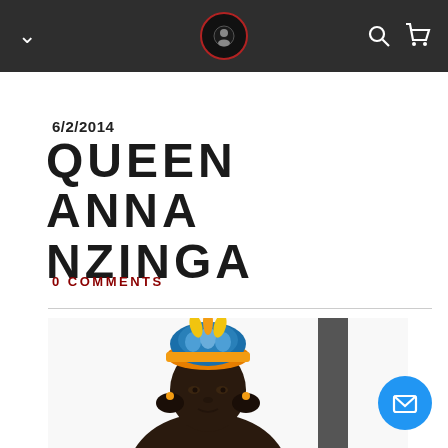Navigation bar with logo, chevron, search, and cart icons
6/2/2014
QUEEN ANNA NZINGA
0 COMMENTS
[Figure (photo): Illustration of Queen Anna Nzinga wearing a colorful crown/headdress with yellow and blue ornaments, depicted as a dark-skinned woman with gold earrings, partially visible from the shoulders up against a white background with a dark rectangular element to the right.]